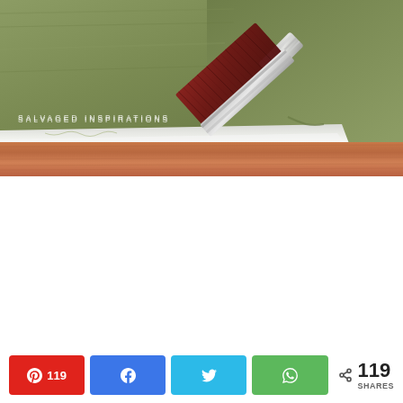[Figure (photo): Close-up photo of an olive green/sage paint brush stroke being applied to a white surface over a wooden board. A dark red bristle paint brush is visible in the upper right. Watermark text 'SALVAGED INSPIRATIONS' overlaid at bottom left.]
SALVAGED INSPIRATIONS
119 | share (Pinterest) | share (Facebook) | share (Twitter) | share (WhatsApp) | < 119 SHARES